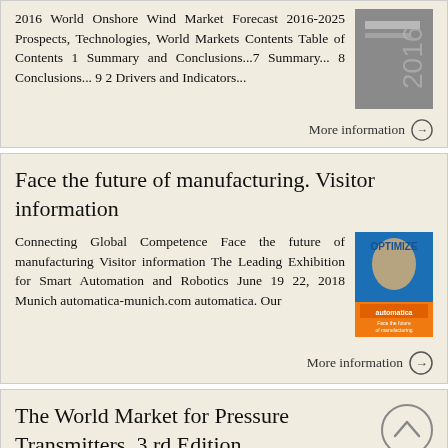2016 World Onshore Wind Market Forecast 2016-2025 Prospects, Technologies, World Markets Contents Table of Contents 1 Summary and Conclusions...7 Summary... 8 Conclusions... 9 2 Drivers and Indicators...
More information →
Face the future of manufacturing. Visitor information
Connecting Global Competence Face the future of manufacturing Visitor information The Leading Exhibition for Smart Automation and Robotics June 19 22, 2018 Munich automatica-munich.com automatica. Our
More information →
The World Market for Pressure Transmitters, 3 rd Edition